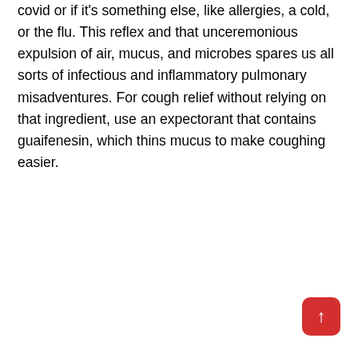covid or if it's something else, like allergies, a cold, or the flu. This reflex and that unceremonious expulsion of air, mucus, and microbes spares us all sorts of infectious and inflammatory pulmonary misadventures. For cough relief without relying on that ingredient, use an expectorant that contains guaifenesin, which thins mucus to make coughing easier.